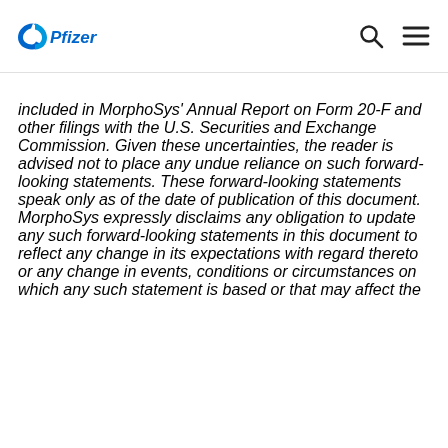Pfizer [logo]
included in MorphoSys' Annual Report on Form 20-F and other filings with the U.S. Securities and Exchange Commission. Given these uncertainties, the reader is advised not to place any undue reliance on such forward-looking statements. These forward-looking statements speak only as of the date of publication of this document. MorphoSys expressly disclaims any obligation to update any such forward-looking statements in this document to reflect any change in its expectations with regard thereto or any change in events, conditions or circumstances on which any such statement is based or that may affect the